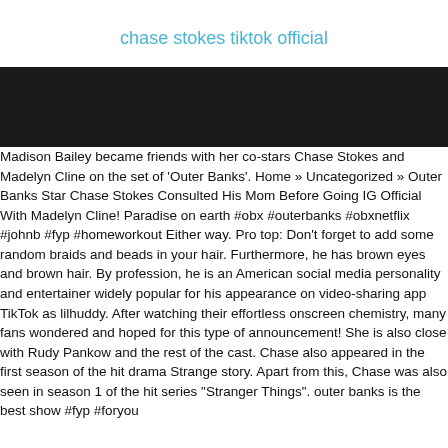chase stokes tiktok official
[Figure (photo): Black rectangular banner/image placeholder]
Madison Bailey became friends with her co-stars Chase Stokes and Madelyn Cline on the set of 'Outer Banks'. Home » Uncategorized » Outer Banks Star Chase Stokes Consulted His Mom Before Going IG Official With Madelyn Cline! Paradise on earth #obx #outerbanks #obxnetflix #johnb #fyp #homeworkout Either way. Pro top: Don't forget to add some random braids and beads in your hair. Furthermore, he has brown eyes and brown hair. By profession, he is an American social media personality and entertainer widely popular for his appearance on video-sharing app TikTok as lilhuddy. After watching their effortless onscreen chemistry, many fans wondered and hoped for this type of announcement! She is also close with Rudy Pankow and the rest of the cast. Chase also appeared in the first season of the hit drama Strange story. Apart from this, Chase was also seen in season 1 of the hit series "Stranger Things". outer banks is the best show #fyp #foryou